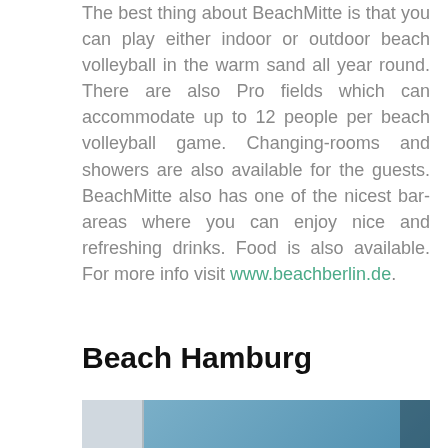The best thing about BeachMitte is that you can play either indoor or outdoor beach volleyball in the warm sand all year round. There are also Pro fields which can accommodate up to 12 people per beach volleyball game. Changing-rooms and showers are also available for the guests. BeachMitte also has one of the nicest bar-areas where you can enjoy nice and refreshing drinks. Food is also available. For more info visit www.beachberlin.de.
Beach Hamburg
[Figure (photo): Interior photo of Beach Hamburg venue showing a blue-walled room with a bar or counter area and ceiling lights.]